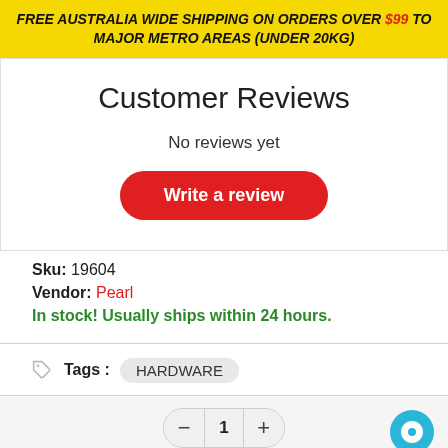FREE AUSTRALIA WIDE SHIPPING ON ORDERS OVER $99 TO MAJOR METRO AREAS (UNDER 20KG)
Customer Reviews
No reviews yet
Write a review
Sku: 19604
Vendor: Pearl
In stock! Usually ships within 24 hours.
Tags : HARDWARE